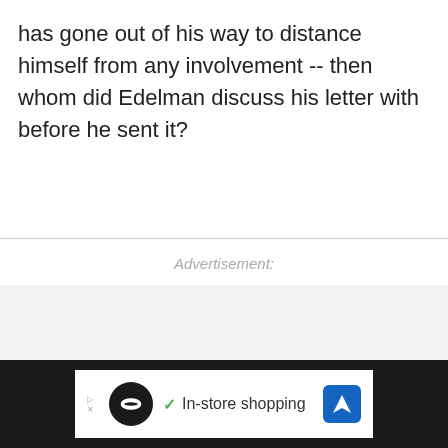has gone out of his way to distance himself from any involvement -- then whom did Edelman discuss his letter with before he sent it?
Advertisement:
[Figure (screenshot): Advertisement banner area showing an in-store shopping ad with a dark circle logo with infinity symbol, a checkmark, 'In-store shopping' text, and a blue navigation/directions icon. A red close button (X) appears at top right. The banner sits on a dark background bar at the bottom of the page.]